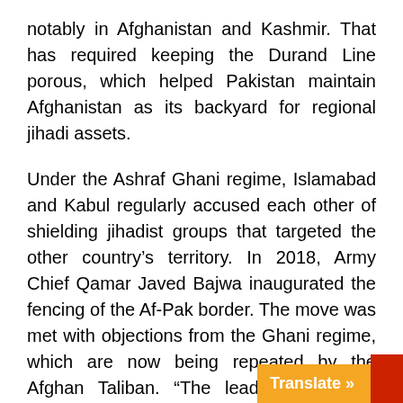notably in Afghanistan and Kashmir. That has required keeping the Durand Line porous, which helped Pakistan maintain Afghanistan as its backyard for regional jihadi assets.
Under the Ashraf Ghani regime, Islamabad and Kabul regularly accused each other of shielding jihadist groups that targeted the other country's territory. In 2018, Army Chief Qamar Javed Bajwa inaugurated the fencing of the Af-Pak border. The move was met with objections from the Ghani regime, which are now being repeated by the Afghan Taliban. “The leadership of the Taliban would possibly accept the line as border in front of the Pakistani establishment, but they are afraid of the reaction of the [Afghan population